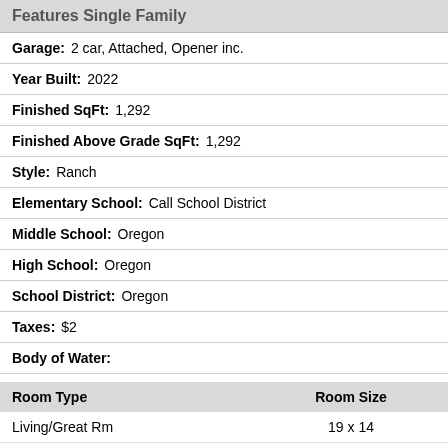Features Single Family
Garage: 2 car, Attached, Opener inc.
Year Built: 2022
Finished SqFt: 1,292
Finished Above Grade SqFt: 1,292
Style: Ranch
Elementary School: Call School District
Middle School: Oregon
High School: Oregon
School District: Oregon
Taxes: $2
Body of Water:
| Room Type | Room Size |
| --- | --- |
| Living/Great Rm | 19 x 14 |